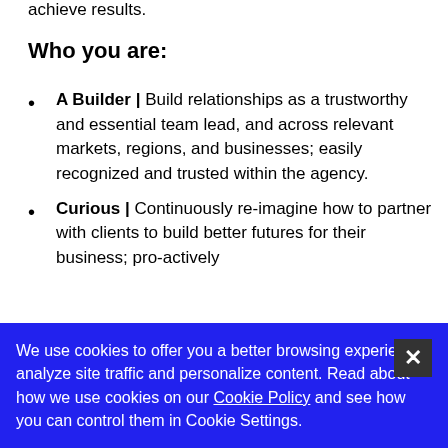achieve results.
Who you are:
A Builder | Build relationships as a trustworthy and essential team lead, and across relevant markets, regions, and businesses; easily recognized and trusted within the agency.
Curious | Continuously re-imagine how to partner with clients to build better futures for their business; pro-actively
We use cookies to offer you a better browsing experience, analyze site traffic and personalize content. Read about how we use cookies on our Cookie Policy and see how you can control them in Cookie Settings.